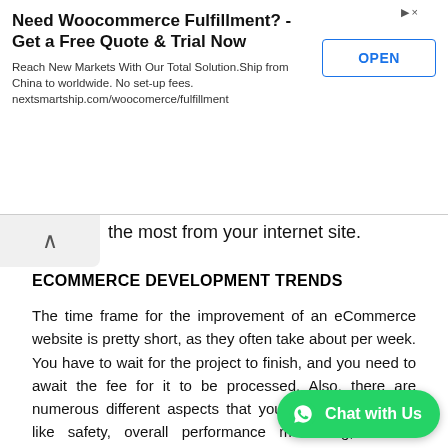[Figure (other): Advertisement banner for Woocommerce Fulfillment service by nextsmartship.com with OPEN button]
the most from your internet site.
ECOMMERCE DEVELOPMENT TRENDS
The time frame for the improvement of an eCommerce website is pretty short, as they often take about per week. You have to wait for the project to finish, and you need to await the fee for it to be processed. Also, there are numerous different aspects that you have to cope with like safety, overall performance monitoring, content material, layout, customer support, and so forth.
To get started with eCommerce i offerings, you could locate them on websites of diverse companies. You ought to log in to a